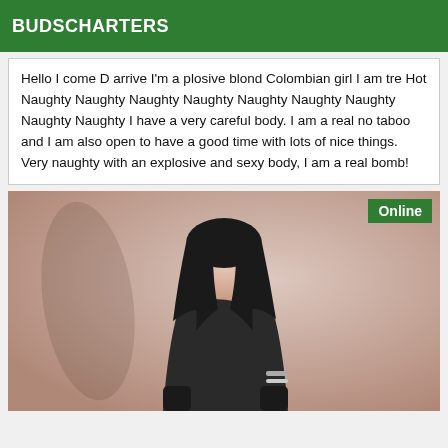BUDSCHARTERS
Hello I come D arrive I'm a plosive blond Colombian girl I am tre Hot Naughty Naughty Naughty Naughty Naughty Naughty Naughty Naughty Naughty I have a very careful body. I am a real no taboo and I am also open to have a good time with lots of nice things. Very naughty with an explosive and sexy body, I am a real bomb!
[Figure (photo): Woman with dark hair viewed from behind, wearing black clothing, with an 'Online' badge in the top right corner]